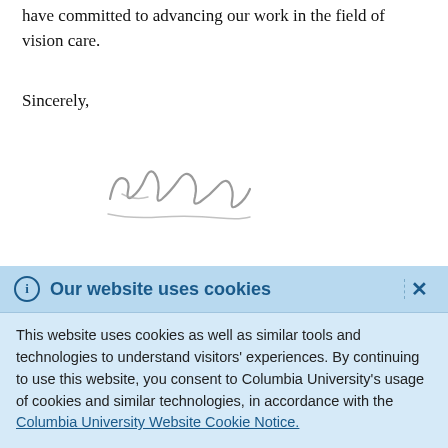have committed to advancing our work in the field of vision care.
Sincerely,
[Figure (illustration): Handwritten signature in grey ink]
Our website uses cookies
This website uses cookies as well as similar tools and technologies to understand visitors' experiences. By continuing to use this website, you consent to Columbia University's usage of cookies and similar technologies, in accordance with the Columbia University Website Cookie Notice.